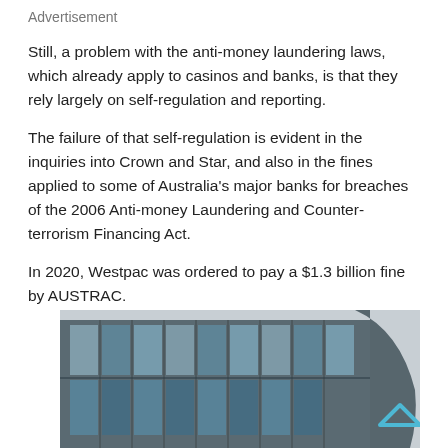Advertisement
Still, a problem with the anti-money laundering laws, which already apply to casinos and banks, is that they rely largely on self-regulation and reporting.
The failure of that self-regulation is evident in the inquiries into Crown and Star, and also in the fines applied to some of Australia's major banks for breaches of the 2006 Anti-money Laundering and Counter-terrorism Financing Act.
In 2020, Westpac was ordered to pay a $1.3 billion fine by AUSTRAC.
[Figure (photo): Photo of a modern glass-facade building, taken from a low angle showing glass panels and balconies against a light sky.]